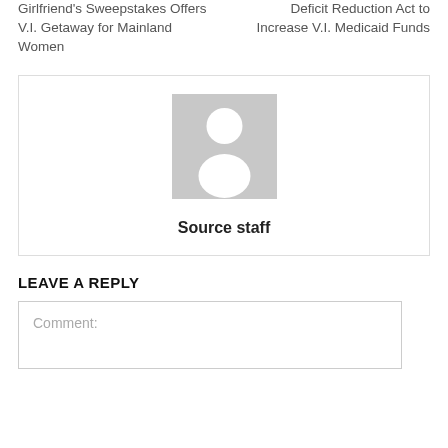Girlfriend's Sweepstakes Offers V.I. Getaway for Mainland Women
Deficit Reduction Act to Increase V.I. Medicaid Funds
[Figure (illustration): Default user avatar placeholder with grey background showing a white silhouette of a person]
Source staff
LEAVE A REPLY
Comment: